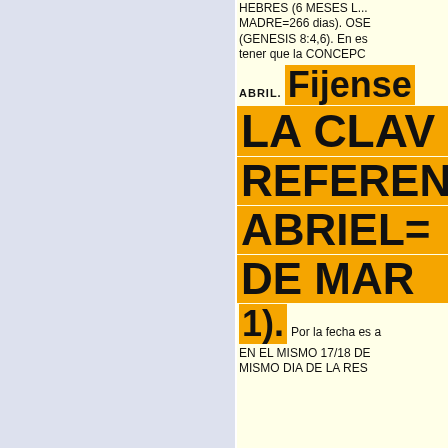HEBRES (6 MESES L... MADRE=266 dias). OSE... (GENESIS 8:4,6). En es... tener que la CONCEPCI...
ABRIL. Fijense
LA CLAV...
REFEREN...
ABRIEL=...
DE MARI...
1). Por la fecha es a...
EN EL MISMO 17/18 DE... MISMO DIA DE LA RES...